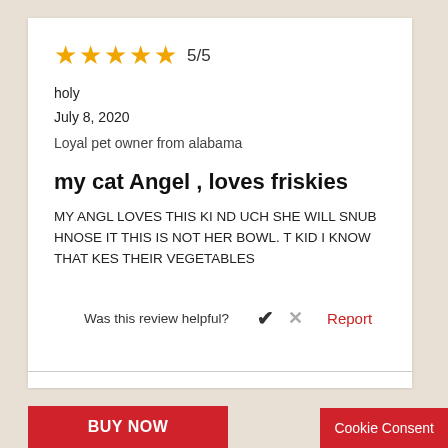[Figure (other): Five gold star rating icons followed by 5/5 text]
holy
July 8, 2020
Loyal pet owner from alabama
my cat Angel , loves friskies
MY ANGL LOVES THIS KI ND UCH SHE WILL SNUB HNOSE IT THIS IS NOT HER BOWL. T KID I KNOW THAT KES THEIR VEGETABLES
Was this review helpful?
Report
BUY NOW
Cookie Consent